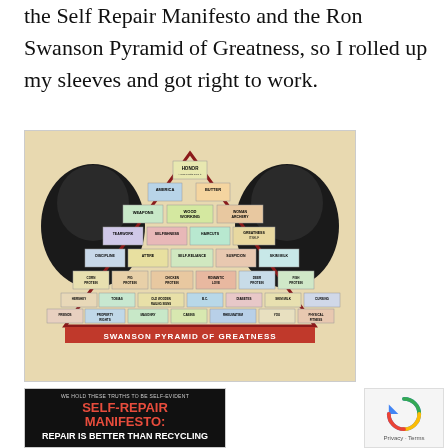the Self Repair Manifesto and the Ron Swanson Pyramid of Greatness, so I rolled up my sleeves and got right to work.
[Figure (illustration): Ron Swanson Pyramid of Greatness infographic — a large triangular pyramid divided into labeled sections covering topics like Honor, America, Butter, Weapons, Wood Working, Haircuts, Discipline, Meat Protein, Friends, Masonry, Cabins, Frugality, Body Grooming, etc. Two portraits of Ron Swanson (actor Nick Offerman) flank the pyramid on left and right. Title at bottom reads SWANSON PYRAMID OF GREATNESS.]
[Figure (illustration): Self-Repair Manifesto book/poster cover with dark background, text reading WE HOLD THESE TRUTHS TO BE SELF-EVIDENT, SELF-REPAIR MANIFESTO in large red letters, and partial subtitle text.]
[Figure (other): reCAPTCHA widget with circular arrow logo and Privacy - Terms text]